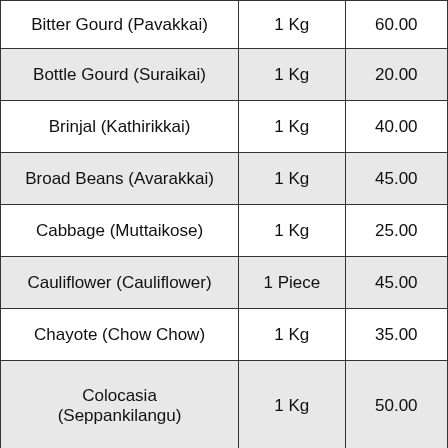| Bitter Gourd (Pavakkai) | 1 Kg | 60.00 |
| Bottle Gourd (Suraikai) | 1 Kg | 20.00 |
| Brinjal (Kathirikkai) | 1 Kg | 40.00 |
| Broad Beans (Avarakkai) | 1 Kg | 45.00 |
| Cabbage (Muttaikose) | 1 Kg | 25.00 |
| Cauliflower (Cauliflower) | 1 Piece | 45.00 |
| Chayote (Chow Chow) | 1 Kg | 35.00 |
| Colocasia (Seppankilangu) | 1 Kg | 50.00 |
| Coriander ... | 1 ... |  |